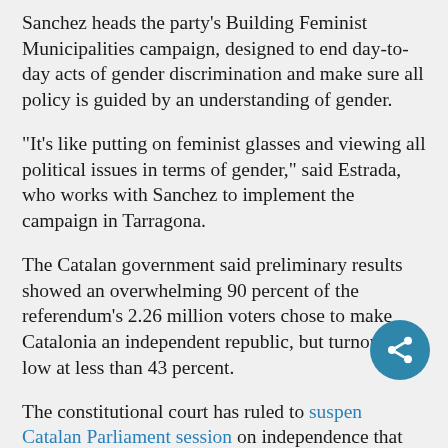Sanchez heads the party’s Building Feminist Municipalities campaign, designed to end day-to-day acts of gender discrimination and make sure all policy is guided by an understanding of gender.
“It’s like putting on feminist glasses and viewing all political issues in terms of gender,” said Estrada, who works with Sanchez to implement the campaign in Tarragona.
The Catalan government said preliminary results showed an overwhelming 90 percent of the referendum’s 2.26 million voters chose to make Catalonia an independent republic, but turnout was low at less than 43 percent.
The constitutional court has ruled to suspend Catalan Parliament session on independence that